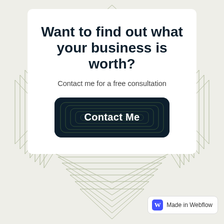[Figure (illustration): Decorative background with concentric diamond/chevron shapes in olive green outline on light gray background, with chevrons on left, right, top, and bottom sides]
Want to find out what your business is worth?
Contact me for a free consultation
Contact Me
[Figure (logo): Made in Webflow badge with purple W icon]